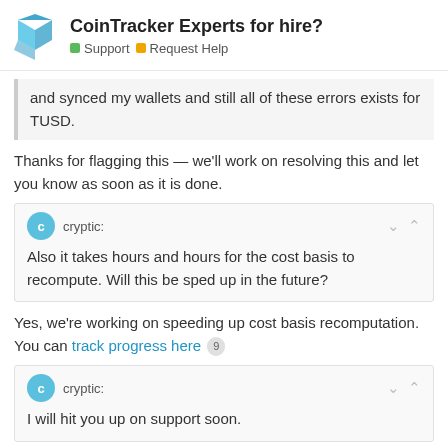CoinTracker Experts for hire? Support | Request Help
and synced my wallets and still all of these errors exists for TUSD.
Thanks for flagging this — we'll work on resolving this and let you know as soon as it is done.
cryptic: Also it takes hours and hours for the cost basis to recompute. Will this be sped up in the future?
Yes, we're working on speeding up cost basis recomputation. You can track progress here 9
cryptic: I will hit you up on support soon.
Please do — we'd love to help resolve any
6 / 19